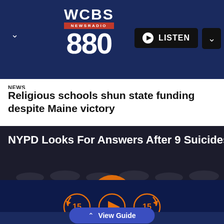WCBS NEWSRADIO 880
LISTEN
NEWS
Religious schools shun state funding despite Maine victory
[Figure (photo): NYPD officers viewed from behind wearing police caps, with text overlay: NYPD Looks For Answers After 9 Suicides. Orange play button in center.]
View Guide